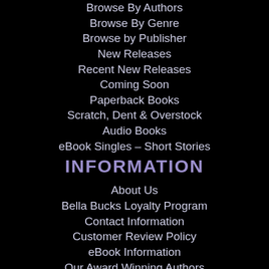Browse By Authors
Browse By Genre
Browse by Publisher
New Releases
Recent New Releases
Coming Soon
Paperback Books
Scratch, Dent & Overstock
Audio Books
eBook Singles – Short Stories
INFORMATION
About Us
Bella Bucks Loyalty Program
Contact Information
Customer Review Policy
eBook Information
Our Award Winning Authors
Pre-Release Policy
Privacy Policy